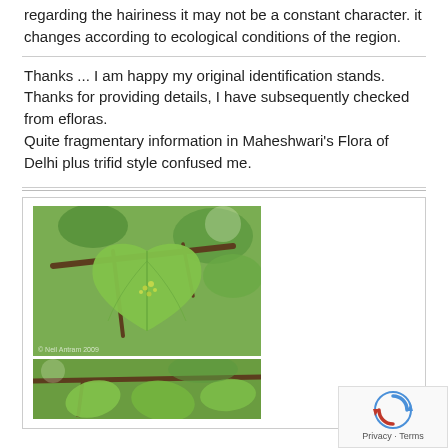regarding the hairiness it may not be a constant character. it changes according to ecological conditions of the region.
Thanks ... I am happy my original identification stands. Thanks for providing details, I have subsequently checked from efloras.
Quite fragmentary information in Maheshwari's Flora of Delhi plus trifid style confused me.
[Figure (photo): Photograph of a plant with large heart-shaped green leaves and small flower clusters on brown stems, taken outdoors. Watermark text at bottom left.]
[Figure (photo): Second photograph of the same or similar plant showing green leaves and brown woody stems.]